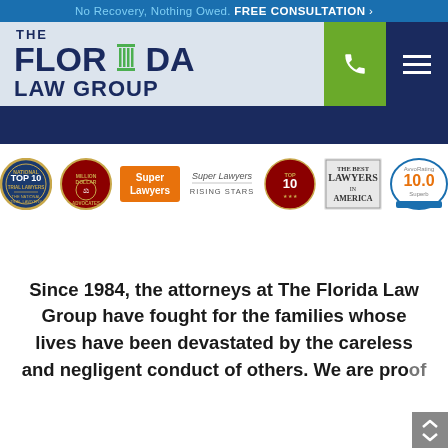No Recovery, Nothing Owed. FREE CONSULTATION >
[Figure (logo): The Florida Law Group logo with pillar icon, green phone button, and dark navy hamburger menu]
[Figure (infographic): Row of legal award badges: National Top 10 Trial Lawyers, Million Dollar Advocates Forum, Super Lawyers (orange), Super Lawyers Rising Stars, Top 10 seal, The Best Lawyers in America, Avvo Rating 10.0 Superb]
Since 1984, the attorneys at The Florida Law Group have fought for the families whose lives have been devastated by the careless and negligent conduct of others. We are pro of